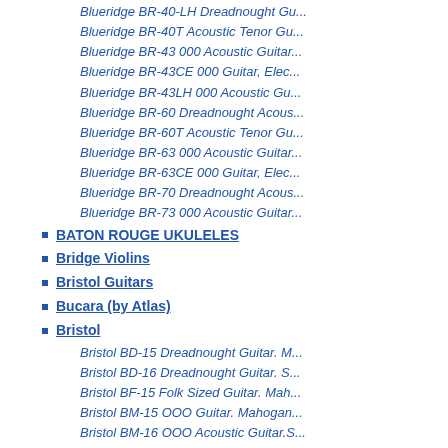Blueridge BR-40-LH Dreadnought Gu...
Blueridge BR-40T Acoustic Tenor Gu...
Blueridge BR-43 000 Acoustic Guitar...
Blueridge BR-43CE 000 Guitar, Elec...
Blueridge BR-43LH 000 Acoustic Gu...
Blueridge BR-60 Dreadnought Acous...
Blueridge BR-60T Acoustic Tenor Gu...
Blueridge BR-63 000 Acoustic Guitar...
Blueridge BR-63CE 000 Guitar, Elec...
Blueridge BR-70 Dreadnought Acous...
Blueridge BR-73 000 Acoustic Guitar...
BATON ROUGE UKULELES
Bridge Violins
Bristol Guitars
Bucara (by Atlas)
Bristol
Bristol BD-15 Dreadnought Guitar. M...
Bristol BD-16 Dreadnought Guitar. S...
Bristol BF-15 Folk Sized Guitar. Mah...
Bristol BM-15 OOO Guitar. Mahogan...
Bristol BM-16 OOO Acoustic Guitar.S...
Bristol BM-16 OOO Electro Acoustic...
Tom Buchanan
Carlsboro
Bucara
Bucara 11inch Master Djembe
Bucara 13inch Master Djembe
Bucara A10PENT Balaphon 10 Key
Bucara A12PENT Balaphon 12 Note
Bucara A170 Balaphon 8 Key c5-c6
Bucara A172 Balaphon 20 key
Bucara BD-TD Talking Drum 5inch -...
Bucara BDD-12 Doum Doum Mediu...
Bucara CA265 Caxixi Ghana Small
Bucara DJ11606 Djembe Hat 13inch...
Bucara DJ11806 Djembe Hat 14inch...
Bucara GH10 Small Ghana Bell, w. b...
Bucara GH18 Medium Ghana B...